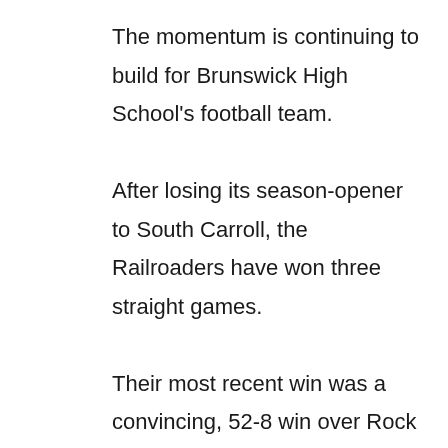The momentum is continuing to build for Brunswick High School's football team. After losing its season-opener to South Carroll, the Railroaders have won three straight games. Their most recent win was a convincing, 52-8 win over Rock Ridge, of Ashburn, Va. last Friday. The win pushes Brunswick's record to 3-1 on the year.